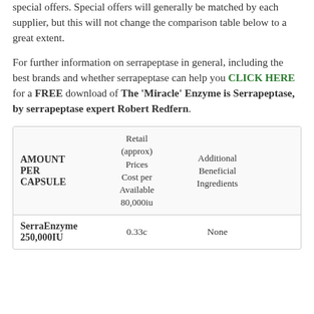special offers. Special offers will generally be matched by each supplier, but this will not change the comparison table below to a great extent.
For further information on serrapeptase in general, including the best brands and whether serrapeptase can help you CLICK HERE for a FREE download of The 'Miracle' Enzyme is Serrapeptase, by serrapeptase expert Robert Redfern.
| AMOUNT PER CAPSULE | Retail (approx) Prices Cost per Available 80,000iu | Additional Beneficial Ingredients |  |
| --- | --- | --- | --- |
| SerraEnzyme 250,000IU | 0.33c | None |  |